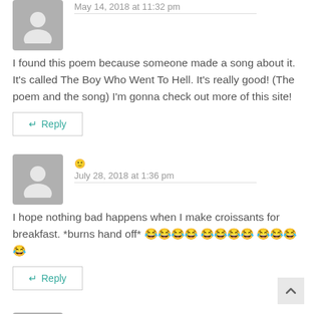May 14, 2018 at 11:32 pm
I found this poem because someone made a song about it. It's called The Boy Who Went To Hell. It's really good! (The poem and the song) I'm gonna check out more of this site!
↵ Reply
🙂
July 28, 2018 at 1:36 pm
I hope nothing bad happens when I make croissants for breakfast. *burns hand off* 😂😂😂😂😂😂😂😂😂
↵ Reply
Gala
August 11, 2018 at 8:17 am